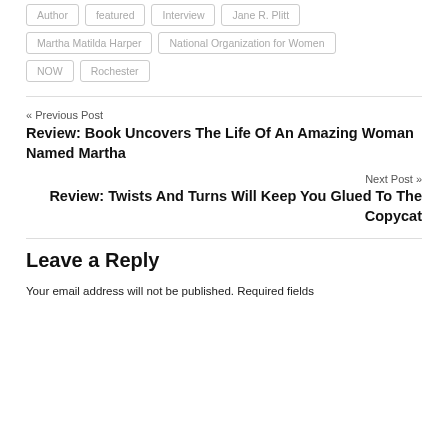Author
featured
Interview
Jane R. Plitt
Martha Matilda Harper
National Organization for Women
NOW
Rochester
« Previous Post
Review: Book Uncovers The Life Of An Amazing Woman Named Martha
Next Post »
Review: Twists And Turns Will Keep You Glued To The Copycat
Leave a Reply
Your email address will not be published. Required fields